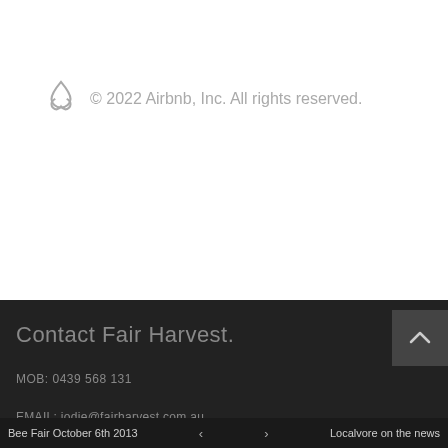[Figure (logo): Airbnb logo (diamond/triangle shape) followed by copyright text]
© 2022 Airbnb, Inc. All rights reserved.
Contact Fair Harvest.
MOB: 0439 568 131
EMAIL: jodie@fairharvest.com.au
Bee Fair October 6th 2013   <   >   Localvore on the news